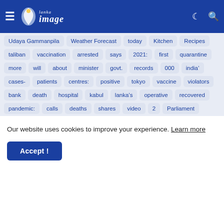Lanka Image - header navigation with logo, dark mode and search icons
Udaya Gammanpila
Weather Forecast
today
Kitchen
Recipes
taliban
vaccination
arrested
says
2021:
first
quarantine
more
will
about
minister
govt.
records
000
india&#8217;
cases-
patients
centres:
positive
tokyo
vaccine
violators
bank
death
hospital
kabul
lanka&#8217;s
operative
recovered
pandemic:
calls
deaths
shares
video
2
Parliament
Our website uses cookies to improve your experience. Learn more
Accept !